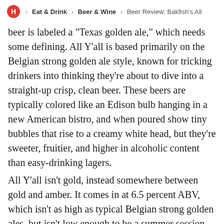H > Eat & Drink > Beer & Wine > Beer Review: Bakfish's All
beer is labeled a "Texas golden ale," which needs some defining. All Y'all is based primarily on the Belgian strong golden ale style, known for tricking drinkers into thinking they're about to dive into a straight-up crisp, clean beer. These beers are typically colored like an Edison bulb hanging in a new American bistro, and when poured show tiny bubbles that rise to a creamy white head, but they're sweeter, fruitier, and higher in alcoholic content than easy-drinking lagers.
All Y'all isn't gold, instead somewhere between gold and amber. It comes in at 6.5 percent ABV, which isn't as high as typical Belgian strong golden ales, but isn't low enough to be a summer session beer. I suppose these reasons are why it's called a “Texas golden ale,” but there's a definite Belgian profile to it. Bakfish claims aromas of banana and pear with a honeyed malt base and a fruity Belgian yeast strain. I got a touch of the pear on...